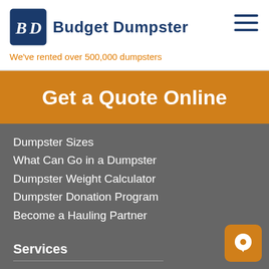[Figure (logo): Budget Dumpster logo with BD icon and brand name, with tagline 'We've rented over 500,000 dumpsters']
Get a Quote Online
Dumpster Sizes
What Can Go in a Dumpster
Dumpster Weight Calculator
Dumpster Donation Program
Become a Hauling Partner
Services
Online Pricing
Roll Off Dumpsters
Residential Dumpsters
Construction Dumpsters